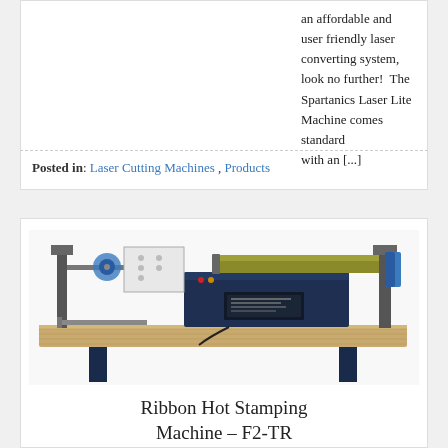an affordable and user friendly laser converting system, look no further!  The Spartanics Laser Lite Machine comes standard with an [...]
Posted in: Laser Cutting Machines , Products
[Figure (photo): Photograph of a Malahide Ribbon Hot Stamping Machine (model F2-TR) sitting on a wooden worktable. The machine is dark navy/blue in color with various mechanical components including rollers, foil spools, and stamping mechanisms visible.]
Ribbon Hot Stamping Machine – F2-TR